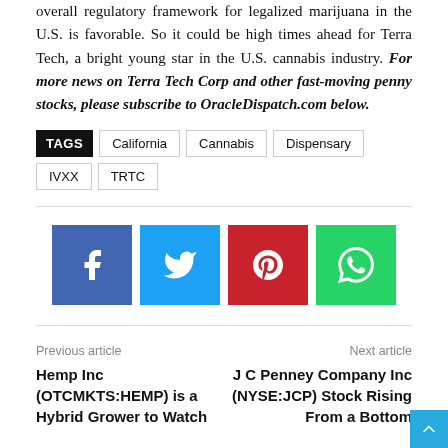Tech. And, as TRTC observers continue to point out, the overall regulatory framework for legalized marijuana in the U.S. is favorable. So it could be high times ahead for Terra Tech, a bright young star in the U.S. cannabis industry. For more news on Terra Tech Corp and other fast-moving penny stocks, please subscribe to OracleDispatch.com below.
TAGS: California, Cannabis, Dispensary, IVXX, TRTC
[Figure (infographic): Four social media share buttons: Facebook (blue), Twitter (light blue), Pinterest (red), WhatsApp (green)]
Previous article — Hemp Inc (OTCMKTS:HEMP) is a Hybrid Grower to Watch
Next article — J C Penney Company Inc (NYSE:JCP) Stock Rising From a Bottom